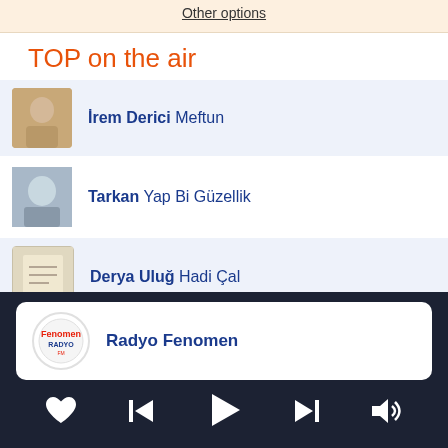Other options
TOP on the air
İrem Derici Meftun
Tarkan Yap Bi Güzellik
Derya Uluğ Hadi Çal
Sefo Bilmem Mi?
Radyo Fenomen